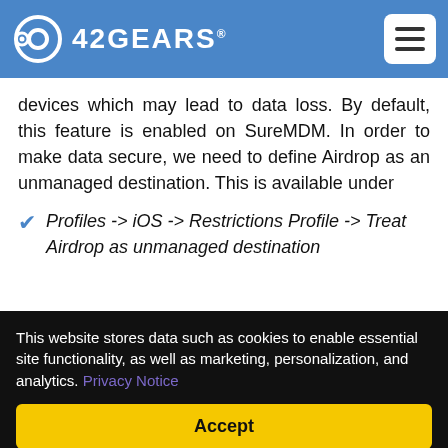42GEARS
devices which may lead to data loss. By default, this feature is enabled on SureMDM. In order to make data secure, we need to define Airdrop as an unmanaged destination. This is available under
Profiles -> iOS -> Restrictions Profile -> Treat Airdrop as unmanaged destination
This website stores data such as cookies to enable essential site functionality, as well as marketing, personalization, and analytics. Privacy Notice
Accept
Deny